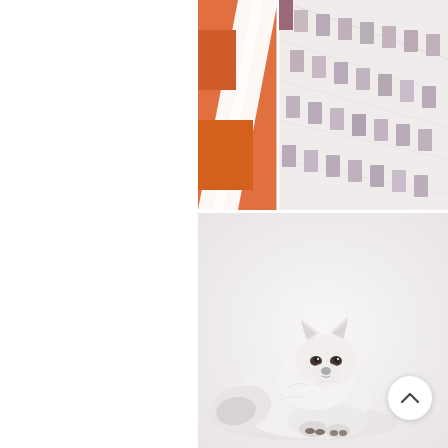[Figure (photo): Close-up architectural photo of a modern building facade with white panels and orange/terracotta accent elements on the left side, with a grid of rectangular windows in grey and white tones on the right.]
[Figure (photo): Photo of a white arctic fox lying down in snow, looking toward the camera with dark eyes and a small dark nose. The background is a soft white/grey snowy environment. A circular scroll-up button with a chevron icon overlays the lower right of the image.]